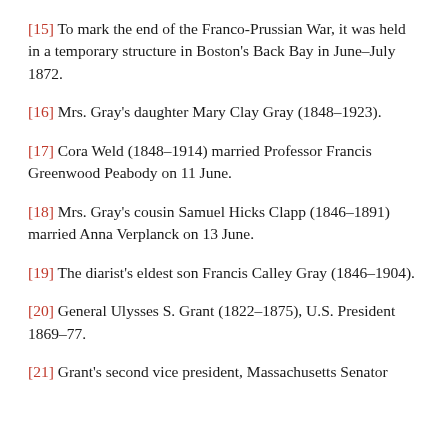[15] To mark the end of the Franco-Prussian War, it was held in a temporary structure in Boston's Back Bay in June–July 1872.
[16] Mrs. Gray's daughter Mary Clay Gray (1848–1923).
[17] Cora Weld (1848–1914) married Professor Francis Greenwood Peabody on 11 June.
[18] Mrs. Gray's cousin Samuel Hicks Clapp (1846–1891) married Anna Verplanck on 13 June.
[19] The diarist's eldest son Francis Calley Gray (1846–1904).
[20] General Ulysses S. Grant (1822–1875), U.S. President 1869–77.
[21] Grant's second vice president, Massachusetts Senator